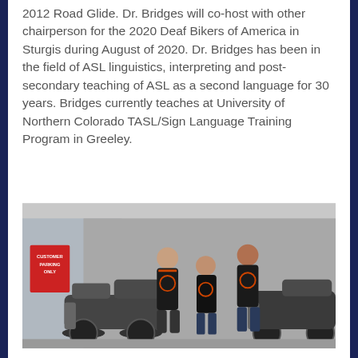2012 Road Glide. Dr. Bridges will co-host with other chairperson for the 2020 Deaf Bikers of America in Sturgis during August of 2020. Dr. Bridges has been in the field of ASL linguistics, interpreting and post-secondary teaching of ASL as a second language for 30 years. Bridges currently teaches at University of Northern Colorado TASL/Sign Language Training Program in Greeley.
[Figure (photo): Three men wearing matching black biker jackets with orange insignia standing with motorcycles in a parking lot. A 'Customer Parking Only' sign is visible on the left side of the image.]